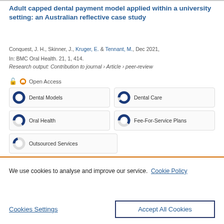Adult capped dental payment model applied within a university setting: an Australian reflective case study
Conquest, J. H., Skinner, J., Kruger, E. & Tennant, M., Dec 2021, In: BMC Oral Health. 21, 1, 414.
Research output: Contribution to journal › Article › peer-review
Open Access
[Figure (infographic): Five keyword/topic boxes with donut-style percentage fill icons: Dental Models (100%), Dental Care (~90%), Oral Health (~65%), Fee-For-Service Plans (~60%), Outsourced Services (~20%)]
We use cookies to analyse and improve our service. Cookie Policy
Cookies Settings
Accept All Cookies